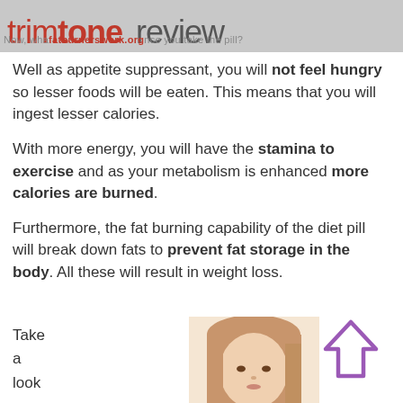trimtone review — fatburnerswork.org — Now, what happens once you take the pill?
Well as appetite suppressant, you will not feel hungry so lesser foods will be eaten. This means that you will ingest lesser calories.
With more energy, you will have the stamina to exercise and as your metabolism is enhanced more calories are burned.
Furthermore, the fat burning capability of the diet pill will break down fats to prevent fat storage in the body. All these will result in weight loss.
Take a look
[Figure (photo): Photo of a woman with light brown/blonde hair, partially visible from the top of the frame]
[Figure (illustration): Purple outlined upward-pointing arrow icon]